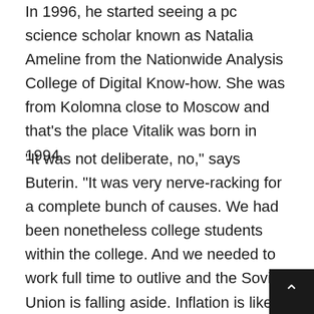In 1996, he started seeing a pc science scholar known as Natalia Ameline from the Nationwide Analysis College of Digital Know-how. She was from Kolomna close to Moscow and that's the place Vitalik was born in 1994.
“It was not deliberate, no,” says Buterin. “It was very nerve-racking for a complete bunch of causes. We had been nonetheless college students within the college. And we needed to work full time to outlive and the Soviet Union is falling aside. Inflation is like, a whole bunch if not 1000s of proportion factors a 12 months and likewise the provision chain completely broke down.”